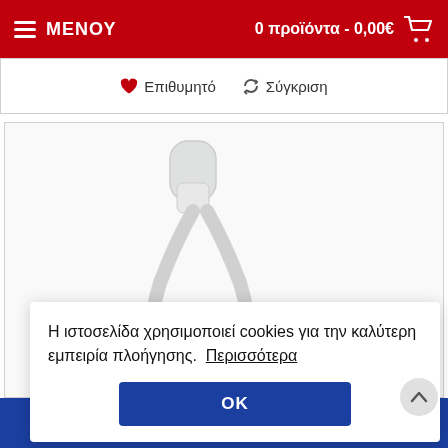ΜΕΝΟΥ   0 προϊόντα - 0,00€
♥ Επιθυμητό   ↺ Σύγκριση
[Figure (photo): White over-ear headphones product photo on white background]
Η ιστοσελίδα χρησιμοποιεί cookies για την καλύτερη εμπειρία πλοήγησης. Περισσότερα
OK